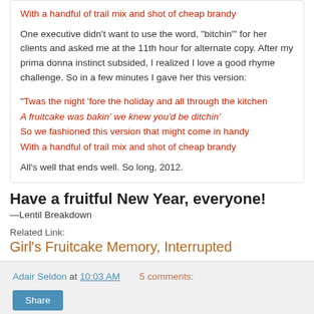With a handful of trail mix and shot of cheap brandy
One executive didn't want to use the word, "bitchin'" for her clients and asked me at the 11th hour for alternate copy. After my prima donna instinct subsided, I realized I love a good rhyme challenge. So in a few minutes I gave her this version:
"Twas the night 'fore the holiday and all through the kitchen
A fruitcake was bakin' we knew you'd be ditchin'
So we fashioned this version that might come in handy
With a handful of trail mix and shot of cheap brandy
All's well that ends well. So long, 2012.
Have a fruitful New Year, everyone!
—Lentil Breakdown
Related Link:
Girl's Fruitcake Memory, Interrupted
Adair Seldon at 10:03 AM   5 comments: